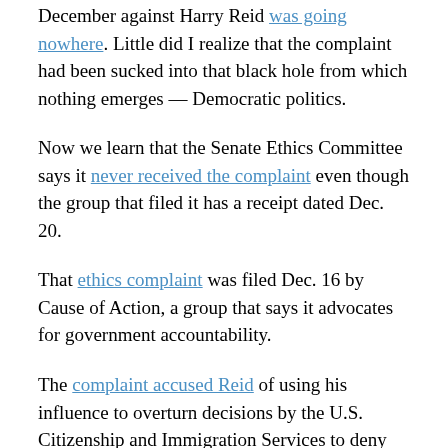December against Harry Reid was going nowhere. Little did I realize that the complaint had been sucked into that black hole from which nothing emerges — Democratic politics.
Now we learn that the Senate Ethics Committee says it never received the complaint even though the group that filed it has a receipt dated Dec. 20.
That ethics complaint was filed Dec. 16 by Cause of Action, a group that says it advocates for government accountability.
The complaint accused Reid of using his influence to overturn decisions by the U.S. Citizenship and Immigration Services to deny visas to foreigners who planned to lend financial support to the renovation of the Sahara Hotel, the now renamed and reopened SLS. Such EB-5 visas are